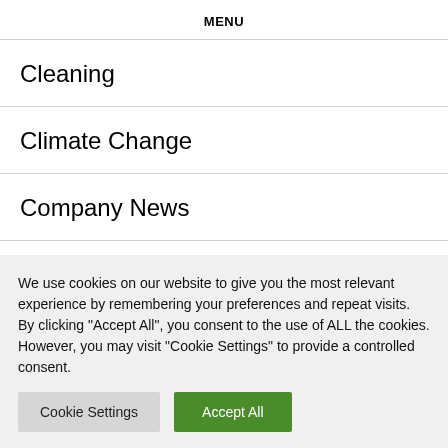MENU
Cleaning
Climate Change
Company News
Computers
We use cookies on our website to give you the most relevant experience by remembering your preferences and repeat visits. By clicking "Accept All", you consent to the use of ALL the cookies. However, you may visit "Cookie Settings" to provide a controlled consent.
Cookie Settings | Accept All